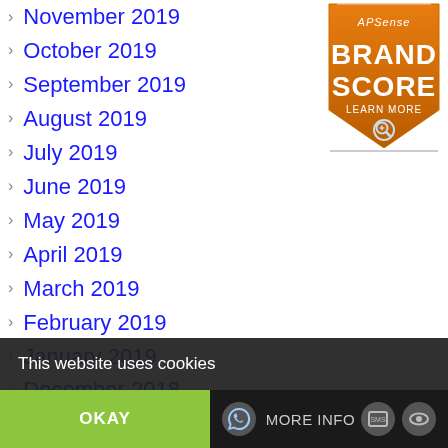November 2019
October 2019
September 2019
August 2019
July 2019
June 2019
May 2019
April 2019
March 2019
February 2019
January 2019
December 2018
November 2018
October 2018
[Figure (logo): APSense Brand Score badge — orange shield shape with text 'APSense', 'BRAND SCORE', 'LEARN MORE' and a magnifier icon]
This website uses cookies
OKAY
MORE INFO